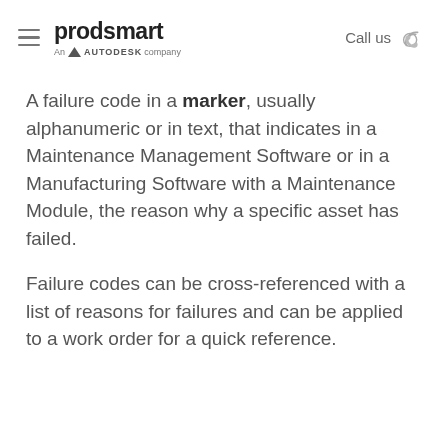prodsmart An AUTODESK company | Call us
A failure code in a marker, usually alphanumeric or in text, that indicates in a Maintenance Management Software or in a Manufacturing Software with a Maintenance Module, the reason why a specific asset has failed.
Failure codes can be cross-referenced with a list of reasons for failures and can be applied to a work order for a quick reference.